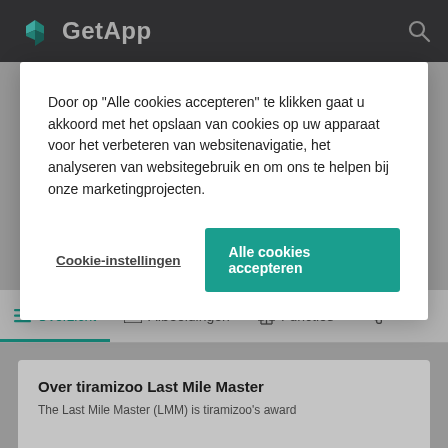GetApp
[Figure (screenshot): GetApp website navigation bar with logo and search icon]
Door op "Alle cookies accepteren" te klikken gaat u akkoord met het opslaan van cookies op uw apparaat voor het verbeteren van websitenavigatie, het analyseren van websitegebruik en om ons te helpen bij onze marketingprojecten.
Cookie-instellingen
Alle cookies accepteren
ALTERNATIEVEN BEKIJKEN
Overzicht
Afbeeldingen
Functies
Over tiramizoo Last Mile Master
The Last Mile Master (LMM) is tiramizoo's award